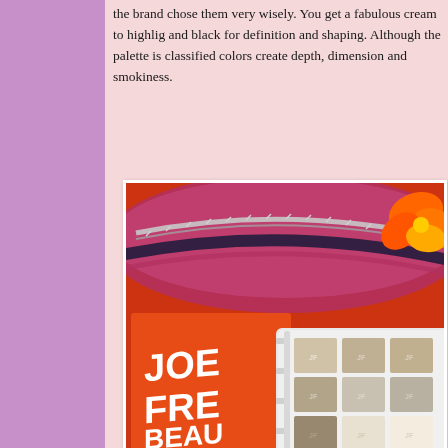the brand chose them very wisely. You get a fabulous cream to highlight and black for definition and shaping. Although the palette is classified colors create depth, dimension and smokiness.
[Figure (photo): A Joe Fresh Beauty eyeshadow palette with 12 shades in neutral tones (champagne, taupe, grey, cream), displayed open against an orange background with a zipper makeup bag visible at the top.]